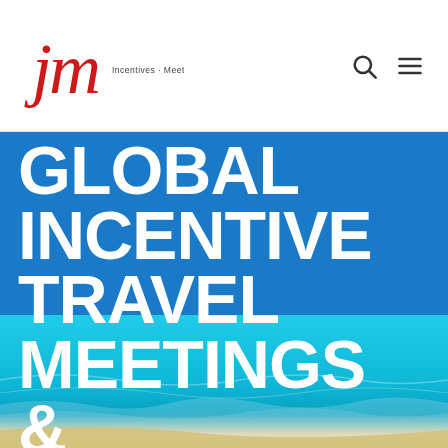[Figure (logo): JM logo with cursive red 'jm' letters and tagline 'Incentives · Meetings · Rewards']
[Figure (photo): Hero section with bright blue sky background and tropical beach/ocean in lower half]
GLOBAL INCENTIVE TRAVEL MEETINGS & EVENTS